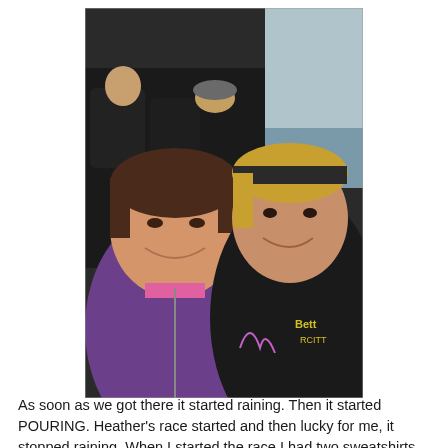[Figure (photo): Two women smiling and posing together on a bus or shuttle vehicle. The woman on the left wears a purple hoodie, and the woman on the right wears a dark hoodie with yellow lettering. Other passengers are visible in the background seats.]
As soon as we got there it started raining. Then it started POURING. Heather's race started and then lucky for me, it stopped raining. When I started the race I had two sweatshirts on but by the time I was running for awhile I was down to my tank with everything tied around my waist. The